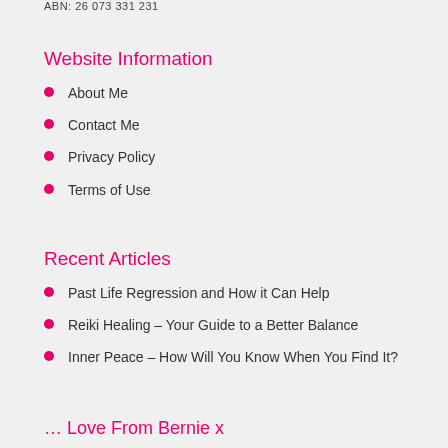ABN: 26 073 331 231
Website Information
About Me
Contact Me
Privacy Policy
Terms of Use
Recent Articles
Past Life Regression and How it Can Help
Reiki Healing – Your Guide to a Better Balance
Inner Peace – How Will You Know When You Find It?
... Love From Bernie x